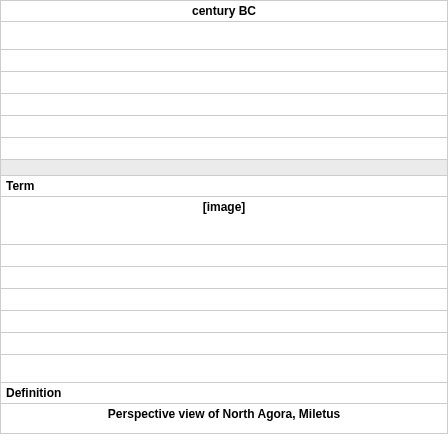| century BC |
|  |
|  |
|  |
|  |
|  |
|  |
|  |
| Term |
| [image] |
|  |
|  |
|  |
|  |
|  |
|  |
| Definition |
| Perspective view of North Agora, Miletus |